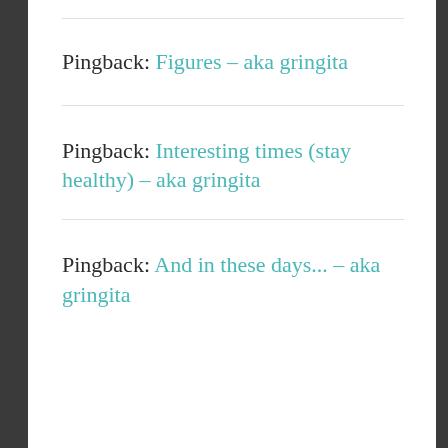Pingback: Figures – aka gringita
Pingback: Interesting times (stay healthy) – aka gringita
Pingback: And in these days... – aka gringita